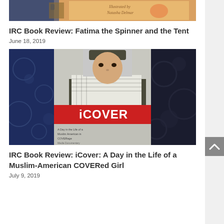[Figure (photo): Top portion of a book cover with illustrated style, warm orange/tan tones, partially visible]
IRC Book Review: Fatima the Spinner and the Tent
June 18, 2019
[Figure (photo): Book cover of 'iCover: A Day in the Life of a Muslim-American COVERed Girl' showing a young woman in a hijab and keffiyeh scarf wearing a jacket, with a red banner reading 'iCOVER'. Background shows dark blue fabric with circular patterns.]
IRC Book Review: iCover: A Day in the Life of a Muslim-American COVERed Girl
July 9, 2019